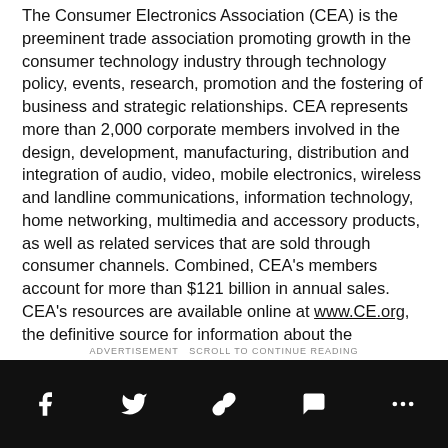The Consumer Electronics Association (CEA) is the preeminent trade association promoting growth in the consumer technology industry through technology policy, events, research, promotion and the fostering of business and strategic relationships. CEA represents more than 2,000 corporate members involved in the design, development, manufacturing, distribution and integration of audio, video, mobile electronics, wireless and landline communications, information technology, home networking, multimedia and accessory products, as well as related services that are sold through consumer channels. Combined, CEA's members account for more than $121 billion in annual sales. CEA's resources are available online at www.CE.org, the definitive source for information about the consumer electronics industry.
ADVERTISEMENT SCROLL TO CONTINUE READING